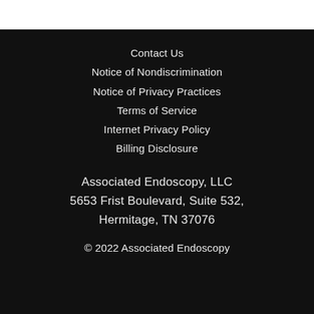Contact Us
Notice of Nondiscrimination
Notice of Privacy Practices
Terms of Service
Internet Privacy Policy
Billing Disclosure
Associated Endoscopy, LLC
5653 Frist Boulevard, Suite 532,
Hermitage, TN 37076
© 2022 Associated Endoscopy